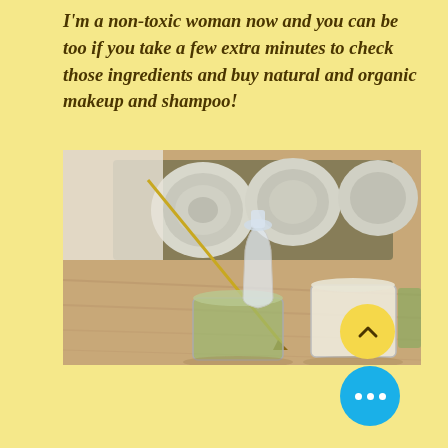I'm a non-toxic woman now and you can be too if you take a few extra minutes to check those ingredients and buy natural and organic makeup and shampoo!
[Figure (photo): Photo of natural spa/wellness products on a wooden surface: glass jars with green and white liquid, a glass carafe, rolled white towels in a tray in the background, and a gold incense stick or paintbrush.]